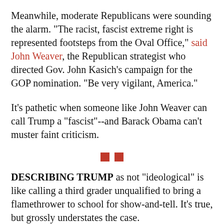Meanwhile, moderate Republicans were sounding the alarm. "The racist, fascist extreme right is represented footsteps from the Oval Office," said John Weaver, the Republican strategist who directed Gov. John Kasich's campaign for the GOP nomination. "Be very vigilant, America."
It's pathetic when someone like John Weaver can call Trump a "fascist"--and Barack Obama can't muster faint criticism.
[Figure (other): Two small red squares used as a section divider]
DESCRIBING TRUMP as not "ideological" is like calling a third grader unqualified to bring a flamethrower to school for show-and-tell. It's true, but grossly understates the case.
Trump is ignorant of history, oblivious to all manner of policy issues and, as he showed throughout the campaign, didn't express his positions forcefully...